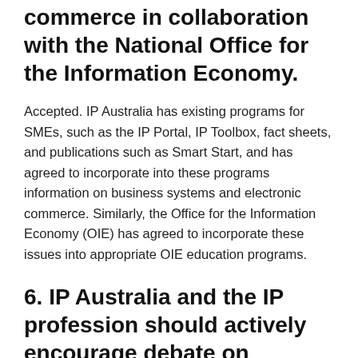commerce in collaboration with the National Office for the Information Economy.
Accepted. IP Australia has existing programs for SMEs, such as the IP Portal, IP Toolbox, fact sheets, and publications such as Smart Start, and has agreed to incorporate into these programs information on business systems and electronic commerce. Similarly, the Office for the Information Economy (OIE) has agreed to incorporate these issues into appropriate OIE education programs.
6. IP Australia and the IP profession should actively encourage debate on controversial IP issues in the